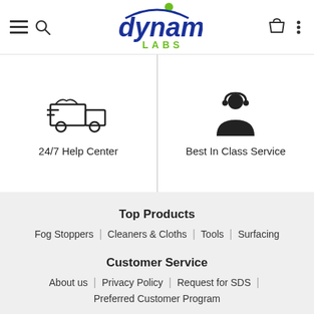[Figure (logo): Dynamic Labs logo with menu, search, cart, and more icons in header]
[Figure (infographic): Two-column icon section: delivery truck icon with '24/7 Help Center' label on left, customer service agent icon with 'Best In Class Service' label on right]
Top Products
Fog Stoppers | Cleaners & Cloths | Tools | Surfacing
Customer Service
About us | Privacy Policy | Request for SDS |
Preferred Customer Program